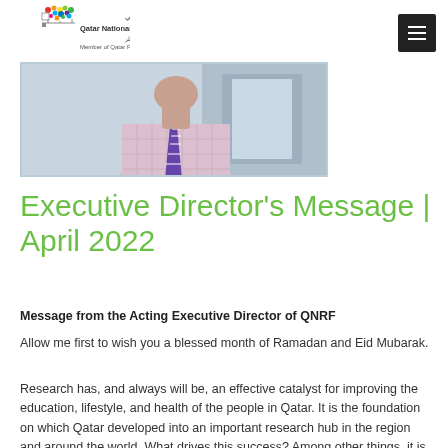Qatar National Research Fund | Member of Qatar Foundation
[Figure (photo): Partial photo of a man wearing a pink/lavender checked shirt and striped tie, torso and lower face visible, with a blurred background.]
Executive Director's Message | April 2022
Message from the Acting Executive Director of QNRF
Allow me first to wish you a blessed month of Ramadan and Eid Mubarak.
Research has, and always will be, an effective catalyst for improving the education, lifestyle, and health of the people in Qatar. It is the foundation on which Qatar developed into an important research hub in the region and around the world. What drives this success? Among other things, it is the effective